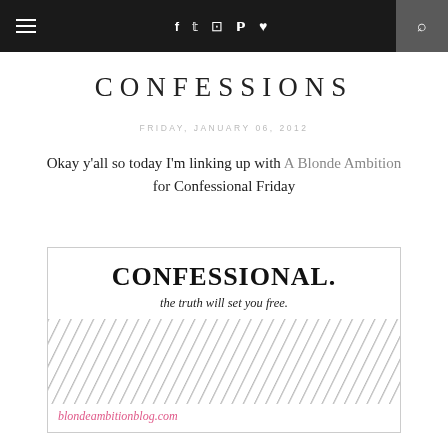≡  f  𝕥  📷  𝗣  ♥  🔍
CONFESSIONS
FRIDAY, JANUARY 06, 2012
Okay y'all so today I'm linking up with A Blonde Ambition for Confessional Friday
[Figure (other): Confessional blog badge image with text 'CONFESSIONAL. the truth will set you free.' and URL 'blondeambitionblog.com' with diagonal hatch pattern]